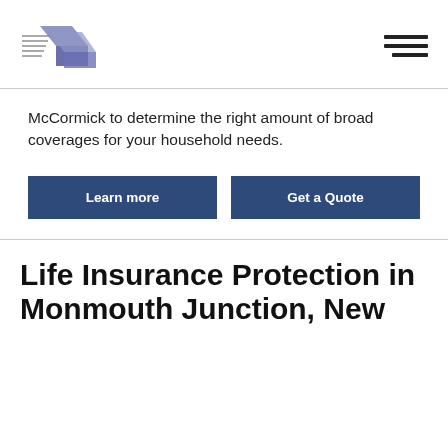[Figure (logo): McCormick insurance agency logo with stylized house/roof icon in blue/purple and horizontal lines]
McCormick to determine the right amount of broad coverages for your household needs.
Learn more
Get a Quote
Life Insurance Protection in Monmouth Junction, New